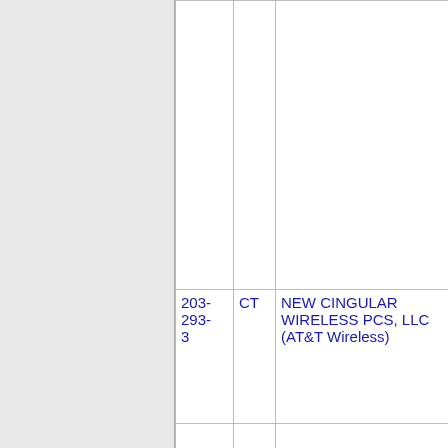| Number | State | Name | Code | Extra |
| --- | --- | --- | --- | --- |
|  |  |  |  |  |
| 203-293-3 | CT | NEW CINGULAR WIRELESS PCS, LLC (AT&T Wireless) | 4036 |  |
|  |  |  |  |  |
| 203-293-4 | CT | CABLEVISION LIGHTPATH, INC. - | 4950 |  |